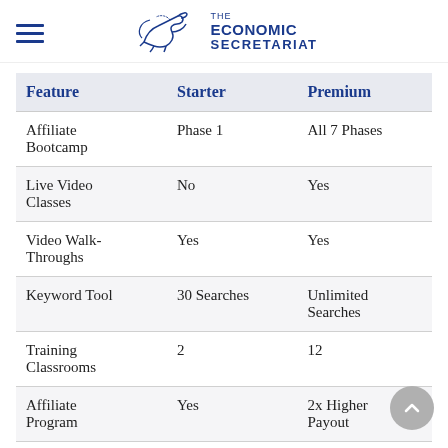THE ECONOMIC SECRETARIAT
| Feature | Starter | Premium |
| --- | --- | --- |
| Affiliate Bootcamp | Phase 1 | All 7 Phases |
| Live Video Classes | No | Yes |
| Video Walk-Throughs | Yes | Yes |
| Keyword Tool | 30 Searches | Unlimited Searches |
| Training Classrooms | 2 | 12 |
| Affiliate Program | Yes | 2x Higher Payout |